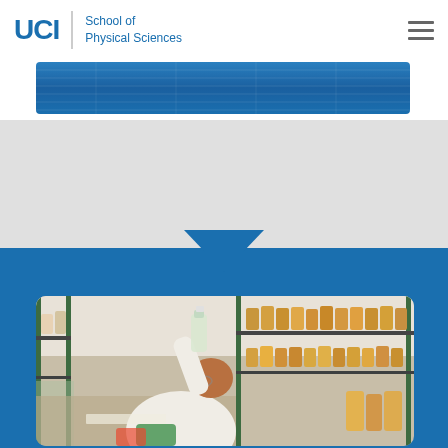[Figure (logo): UCI School of Physical Sciences logo with UCI in bold blue, divider, and school name text]
[Figure (screenshot): UCI School of Physical Sciences website screenshot showing blue banner strip at top, gray middle section, blue lower section with downward chevron arrow, and a lab photo at the bottom showing a researcher in a white lab coat holding up a bottle in a lab with many bottles on shelves]
[Figure (photo): Laboratory photo showing a female researcher in a white lab coat holding up a bottle, with many bottles of various colors on shelving racks in the background]